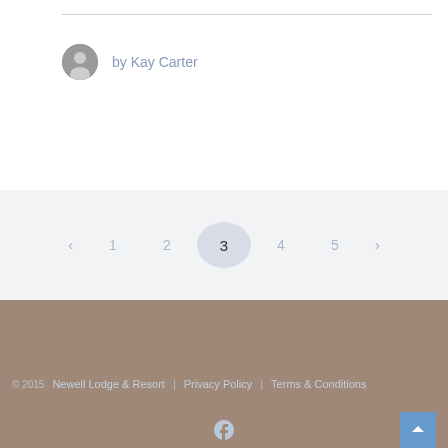by Kay Carter
< 1 2 3 4 5 >
© 2015 Newell Lodge & Resort | Privacy Policy | Terms & Conditions